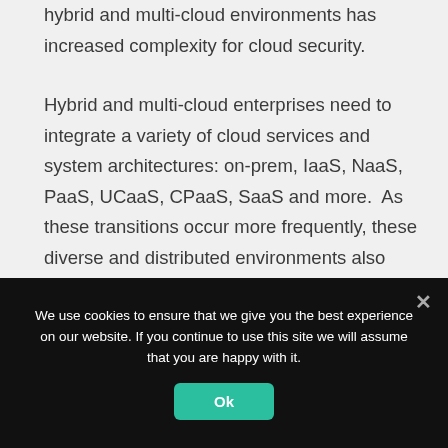hybrid and multi-cloud environments has increased complexity for cloud security.
Hybrid and multi-cloud enterprises need to integrate a variety of cloud services and system architectures: on-prem, IaaS, NaaS, PaaS, UCaaS, CPaaS, SaaS and more.  As these transitions occur more frequently, these diverse and distributed environments also become increasingly complex, with limited network control, little or no integration across
We use cookies to ensure that we give you the best experience on our website. If you continue to use this site we will assume that you are happy with it.